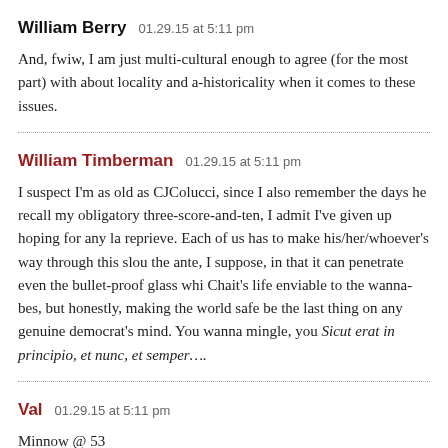William Berry   01.29.15 at 5:11 pm
And, fwiw, I am just multi-cultural enough to agree (for the most part) with about locality and a-historicality when it comes to these issues.
William Timberman   01.29.15 at 5:11 pm
I suspect I'm as old as CJColucci, since I also remember the days he recalls. Having outlived my obligatory three-score-and-ten, I admit I've given up hoping for any last-minute reprieve. Each of us has to make his/her/whoever's way through this slough. Irony ups the ante, I suppose, in that it can penetrate even the bullet-proof glass which makes Chait's life enviable to the wanna-bes, but honestly, making the world safe for irony would be the last thing on any genuine democrat's mind. You wanna mingle, you mingle. Sicut erat in principio, et nunc, et semper….
Val   01.29.15 at 5:11 pm
Minnow @ 53
Your example doesn't work. Meaningful analogies might be: a straight per riddling…